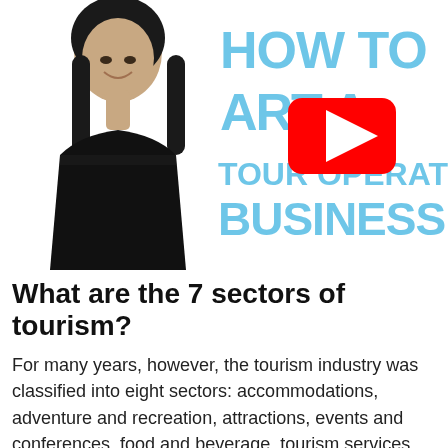[Figure (photo): Thumbnail image: a woman with dark hair wearing a black top on the left, and large light blue text reading 'HOW TO START A TOUR OPERATOR BUSINESS' on the right, with a YouTube play button overlay in the center.]
What are the 7 sectors of tourism?
For many years, however, the tourism industry was classified into eight sectors: accommodations, adventure and recreation, attractions, events and conferences, food and beverage, tourism services, transportation, and travel trade (Yukon Department of Tourism and Culture, 2012).